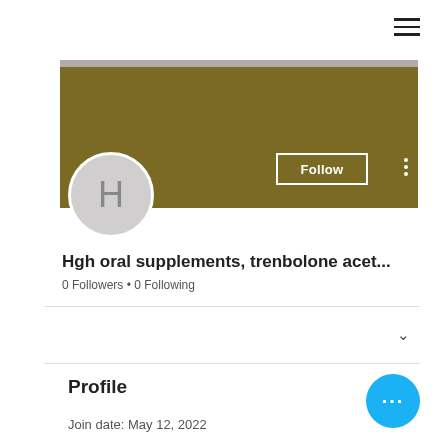[Figure (screenshot): Social media profile page screenshot showing hamburger menu, olive/gold cover banner, avatar circle with letter H, Follow button, username, followers info, profile section, and floating action button.]
Hgh oral supplements, trenbolone acet...
0 Followers • 0 Following
Profile
Join date: May 12, 2022